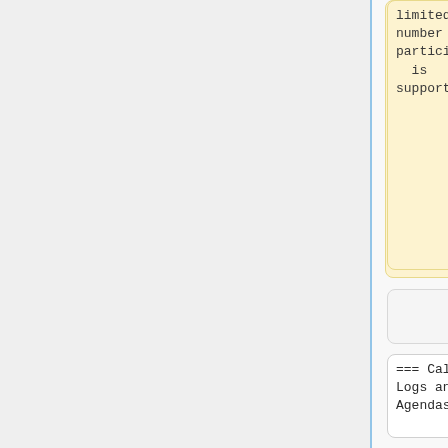limited number of participants is supported.
=== Call Logs and Agendas ===
=== Call Logs and Agendas ===
==== 2021 ====
==== 2018 ====
{| class="wikitable